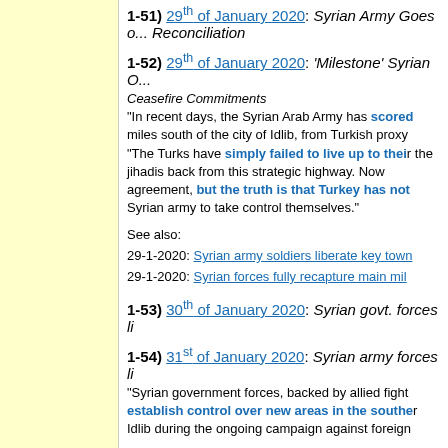1-51) 29th of January 2020: Syrian Army Goes o... Reconciliation
1-52) 29th of January 2020: 'Milestone' Syrian O... Ceasefire Commitments. "In recent days, the Syrian Arab Army has scored... miles south of the city of Idlib, from Turkish proxy... "The Turks have simply failed to live up to their... the jihadis back from this strategic highway. Now... agreement, but the truth is that Turkey has not... Syrian army to take control themselves."
See also:
29-1-2020: Syrian army soldiers liberate key town...
29-1-2020: Syrian forces fully recapture main mil...
1-53) 30th of January 2020: Syrian govt. forces li...
1-54) 31st of January 2020: Syrian army forces li... "Syrian government forces, backed by allied fight... establish control over new areas in the southe... Idlib during the ongoing campaign against foreign...
1-55) 1st of February 2020: Syria liberates two v... "... army units had engaged in fierce clashes with...